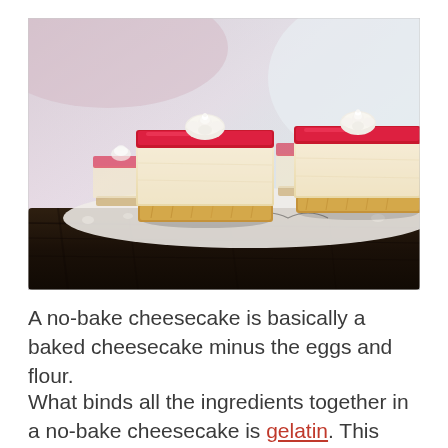[Figure (photo): A photograph of several square no-bake cheesecake slices arranged on a white doily on a dark wooden board. Each slice has a graham cracker crust base, a thick cream cheese layer, a bright red jelly/gelatin topping, and a small white whipped cream rosette on top. The background is softly blurred in muted pink and grey tones.]
A no-bake cheesecake is basically a baked cheesecake minus the eggs and flour.
What binds all the ingredients together in a no-bake cheesecake is gelatin. This helps